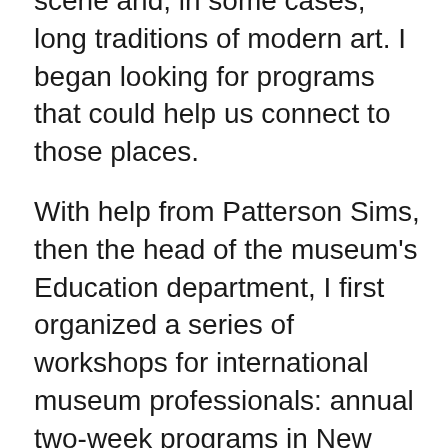scene and, in some cases, long traditions of modern art. I began looking for programs that could help us connect to those places.
With help from Patterson Sims, then the head of the museum's Education department, I first organized a series of workshops for international museum professionals: annual two-week programs in New York that focused on shared administrative and curatorial issues. The workshops' focus began with Latin America, then moved to Central and Eastern Europe, East Asia, and sub-Saharan Africa. At that point, I moved my focus to other areas, but we've revived that program in the past two years.
We also began to publish a series of translations of important writings on modern and contemporary art from a variety of countries, beginning with a volume on Central